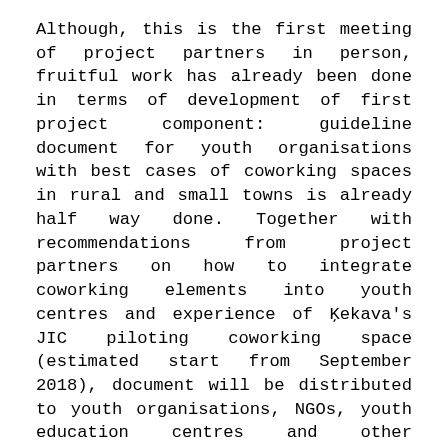Although, this is the first meeting of project partners in person, fruitful work has already been done in terms of development of first project component: guideline document for youth organisations with best cases of coworking spaces in rural and small towns is already half way done. Together with recommendations from project partners on how to integrate coworking elements into youth centres and experience of Ķekava's JIC piloting coworking space (estimated start from September 2018), document will be distributed to youth organisations, NGOs, youth education centres and other stakeholders in all partner countries.
The next stage of project development is integration of coworking centre into Ķekavas JIC according to developed guidelines and piloting it. In order to ensure effective participation of partner organisations, that